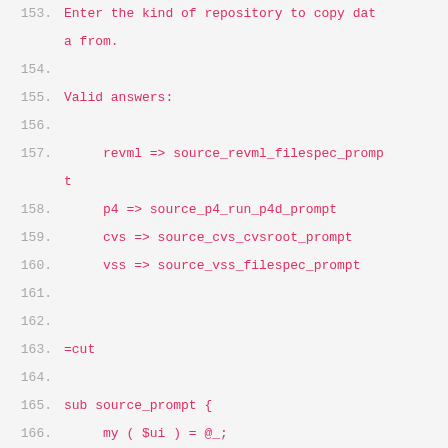153. Enter the kind of repository to copy data from.
154.
155. Valid answers:
156.
157.     revml => source_revml_filespec_prompt
158.     p4 => source_p4_run_p4d_prompt
159.     cvs => source_cvs_cvsroot_prompt
160.     vss => source_vss_filespec_prompt
161.
162.
163. =cut
164.
165. sub source_prompt {
166.     my ( $ui ) = @_;
167.
168.     ## Use single-quotish HERE docs as the most robust form of quoting
169.     ## so we don't have to mess with escaping.
170.     my $prompt = <<'END_PROMPT';
171. Source SCM type
172. END_PROMPT
173.